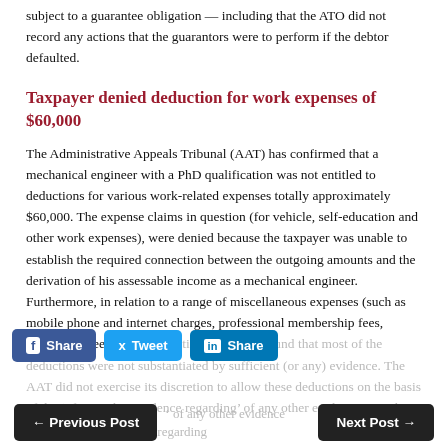subject to a guarantee obligation — including that the ATO did not record any actions that the guarantors were to perform if the debtor defaulted.
Taxpayer denied deduction for work expenses of $60,000
The Administrative Appeals Tribunal (AAT) has confirmed that a mechanical engineer with a PhD qualification was not entitled to deductions for various work-related expenses totally approximately $60,000. The expense claims in question (for vehicle, self-education and other work expenses), were denied because the taxpayer was unable to establish the required connection between the outgoing amounts and the derivation of his assessable income as a mechanical engineer. Furthermore, in relation to a range of miscellaneous expenses (such as mobile phone and internet charges, professional membership fees, conference fees and depreciation), the AAT found that most of the deductions were not substantiated by sufficient (or any) evidence. The AAT did not exercise its discretion to allow these deductions on the basis of the ‘of any other evidence regarding’ of any other evidence regarding incurring the expenses.